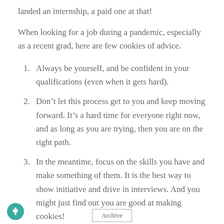landed an internship, a paid one at that!
When looking for a job during a pandemic, especially as a recent grad, here are few cookies of advice.
Always be yourself, and be confident in your qualifications (even when it gets hard).
Don’t let this process get to you and keep moving forward. It’s a hard time for everyone right now, and as long as you are trying, then you are on the right path.
In the meantime, focus on the skills you have and make something of them. It is the best way to show initiative and drive in interviews. And you might just find out you are good at making cookies!